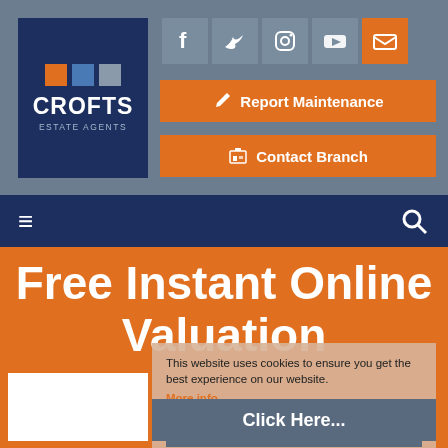[Figure (logo): Crofts Estate Agents logo: dark navy blue square with orange, blue, and grey small squares above the text CROFTS ESTATE AGENTS in white]
[Figure (infographic): Social media icon buttons: Facebook (f), Twitter (bird), Instagram (camera), YouTube (play), Email (envelope, orange background)]
Report Maintenance
Contact Branch
[Figure (infographic): Navigation bar with hamburger menu icon on left and search (magnifier) icon on right, dark navy background]
Free Instant Online Valuation
This website uses cookies to ensure you get the best experience on our website. More info
Click Here...
Got it!